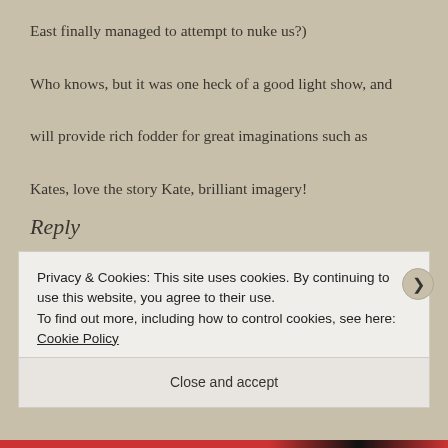East finally managed to attempt to nuke us?) Who knows, but it was one heck of a good light show, and will provide rich fodder for great imaginations such as Kates, love the story Kate, brilliant imagery!
Reply
[Figure (photo): Avatar image of Kateshrewsday — medieval illustration of a figure]
KATESHREWSDAY
SEPTEMBER 22, 2012 AT 12:34 PM
Privacy & Cookies: This site uses cookies. By continuing to use this website, you agree to their use.
To find out more, including how to control cookies, see here: Cookie Policy
Close and accept